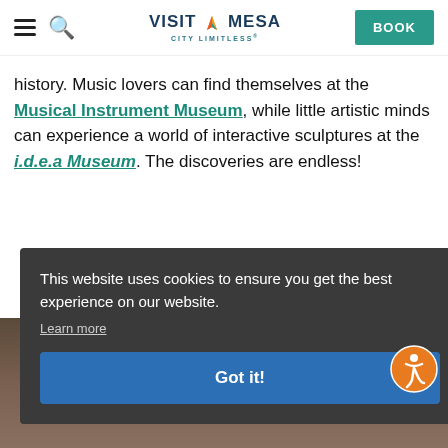VISIT MESA CITY LIMITLESS
history. Music lovers can find themselves at the Musical Instrument Museum, while little artistic minds can experience a world of interactive sculptures at the i.d.e.a Museum. The discoveries are endless!
This website uses cookies to ensure you get the best experience on our website.
Learn more
Got it!